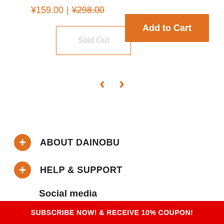¥159.00 | ¥298.00
Sold Out
Add to Cart
[Figure (other): Navigation arrows: left chevron and right chevron in orange]
ABOUT DAINOBU
HELP & SUPPORT
Social media
Show a newsletter sign up and social
SUBSCRIBE NOW! & RECEIVE 10% COUPON!